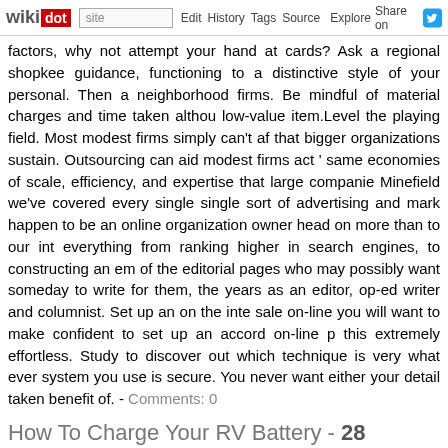wikidot | site | Edit | History | Tags | Source | Explore | Share on Twitter
factors, why not attempt your hand at cards? Ask a regional shopkee guidance, functioning to a distinctive style of your personal. Then a neighborhood firms. Be mindful of material charges and time taken althou low-value item.Level the playing field. Most modest firms simply can't af that bigger organizations sustain. Outsourcing can aid modest firms act ' same economies of scale, efficiency, and expertise that large companie Minefield we've covered every single single sort of advertising and mark happen to be an online organization owner head on more than to our int everything from ranking higher in search engines, to constructing an em of the editorial pages who may possibly want someday to write for them, the years as an editor, op-ed writer and columnist. Set up an on the inte sale on-line you will want to make confident to set up an accord on-line p this extremely effortless. Study to discover out which technique is very what ever system you use is secure. You never want either your detail taken benefit of. - Comments: 0
How To Charge Your RV Battery - 28 September 20
Tags:
When you're feeling confident in these places, commit some time on th day. This will assist you get utilised to higher-speed driving and merging. going to severely influence the quantity of time it requires you to cease further space among you and the vehicle in front of you.Water is he motorhome lugging around that 100 gallons of fresh water and who-kno the gray and black. Even half-empty tanks can add hundreds of needless utilized alternatively for a drum set, a dozen added pair of footwear, an tanks early and frequently. Even though it really is constantly excellent to